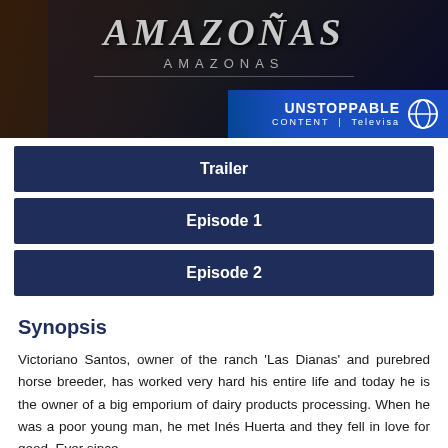[Figure (photo): Amazonas TV show banner image with dark background showing the title 'AMAZONAS' in large metallic letters with subtitle 'AMAZONAS' below, and a blue 'UNSTOPPABLE CONTENT | Televisa' bar in the bottom right corner]
Trailer
Episode 1
Episode 2
Synopsis
Victoriano Santos, owner of the ranch 'Las Dianas' and purebred horse breeder, has worked very hard his entire life and today he is the owner of a big emporium of dairy products processing. When he was a poor young man, he met Inés Huerta and they fell in love for good. Ever since